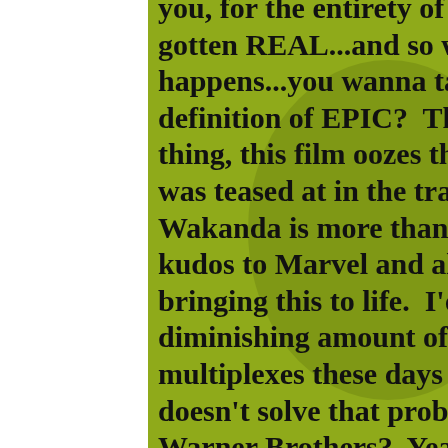you, for the entirety of this movie, shit has gotten REAL...and so when that reunification happens...you wanna talk about the cinematic definition of EPIC?  That'll be it.  That's the thing, this film oozes that EPIC feel.  What was teased at in the trailers with the battle in Wakanda is more than lived up to.  And kudos to Marvel and all those involved in bringing this to life.  I'd been lamenting the diminishing amount of cinematic epics in the multiplexes these days and sure, this one film doesn't solve that problem [Justice Leage? Warner Brothers?  Yeah, we're looking at YOU. – Ed.], but damn...it nearly solves it singlehandedly.